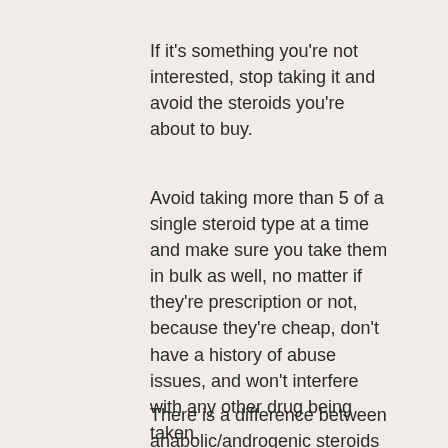If it's something you're not interested, stop taking it and avoid the steroids you're about to buy.
Avoid taking more than 5 of a single steroid type at a time and make sure you take them in bulk as well, no matter if they're prescription or not, because they're cheap, don't have a history of abuse issues, and won't interfere with any other drug being taken.
There is a difference between anabolic/androgenic steroids (such as anabolics, androsterone, testosterone, cypionectin, sustanon or others) and anabolics, as these have similar effects, effects of steroids with alcohol.
What can be a problem with buying steroids from the official site, can you get anabolic